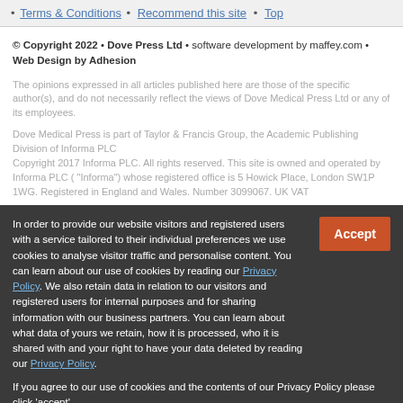• Terms & Conditions • Recommend this site • Top
© Copyright 2022  •  Dove Press Ltd  •  software development by maffey.com • Web Design by Adhesion
The opinions expressed in all articles published here are those of the specific author(s), and do not necessarily reflect the views of Dove Medical Press Ltd or any of its employees.
Dove Medical Press is part of Taylor & Francis Group, the Academic Publishing Division of Informa PLC
Copyright 2017 Informa PLC. All rights reserved. This site is owned and operated by Informa PLC ( "Informa") whose registered office is 5 Howick Place, London SW1P 1WG. Registered in England and Wales. Number 3099067. UK VAT
In order to provide our website visitors and registered users with a service tailored to their individual preferences we use cookies to analyse visitor traffic and personalise content. You can learn about our use of cookies by reading our Privacy Policy. We also retain data in relation to our visitors and registered users for internal purposes and for sharing information with our business partners. You can learn about what data of yours we retain, how it is processed, who it is shared with and your right to have your data deleted by reading our Privacy Policy.
If you agree to our use of cookies and the contents of our Privacy Policy please click 'accept'.